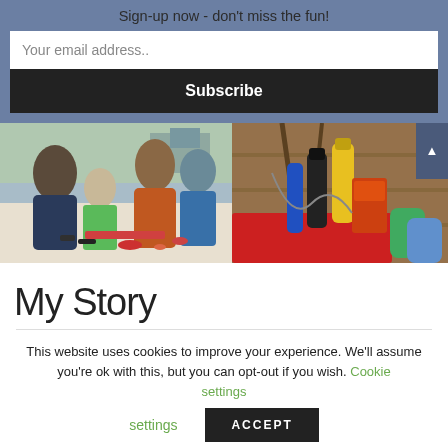Sign-up now - don't miss the fun!
Your email address..
Subscribe
[Figure (photo): Two photos side by side: left shows children and adults doing crafts at a table outdoors; right shows art supplies including tubes of paint and a red surface on a wooden background.]
My Story
This website uses cookies to improve your experience. We'll assume you're ok with this, but you can opt-out if you wish. Cookie settings ACCEPT